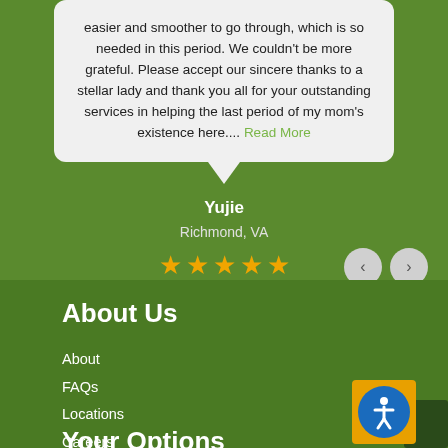easier and smoother to go through, which is so needed in this period. We couldn't be more grateful. Please accept our sincere thanks to a stellar lady and thank you all for your outstanding services in helping the last period of my mom's existence here.... Read More
Yujie
Richmond, VA
[Figure (other): Five orange star rating icons]
[Figure (other): Previous and next navigation buttons (chevron left and right in circular buttons)]
About Us
About
FAQs
Locations
Careers
Merchandise
Your Options
[Figure (illustration): Accessibility icon: circular blue icon with white person figure inside, surrounded by orange border, with dark green rectangle partially overlapping bottom right]